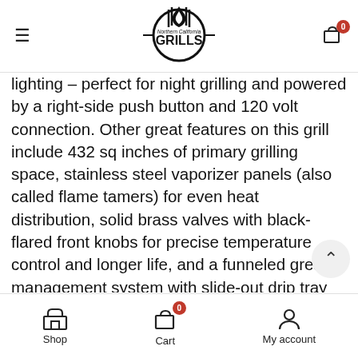Northern California GRILLS
lighting – perfect for night grilling and powered by a right-side push button and 120 volt connection. Other great features on this grill include 432 sq inches of primary grilling space, stainless steel vaporizer panels (also called flame tamers) for even heat distribution, solid brass valves with black-flared front knobs for precise temperature control and longer life, and a funneled grease management system with slide-out drip tray for painless clean up. Roast a better bird with the high performance rotisserie kit with 10,000 BTU infrared back burner. Whether you enjoy entertaining the neighbors or rounding up the family for a fresh meal, this AOG 24-inch L-Series gas grill will add style
Shop  Cart  My account